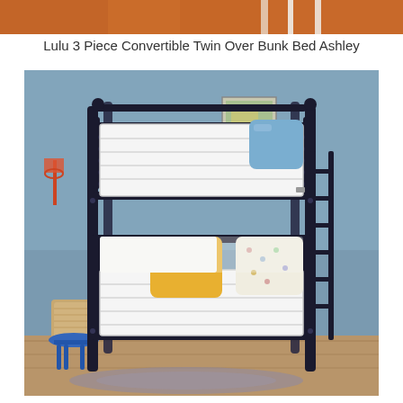[Figure (photo): Partial top image showing what appears to be an orange/brick colored surface with white vertical elements, cropped at top of page]
Lulu 3 Piece Convertible Twin Over Bunk Bed Ashley
[Figure (photo): Photo of a black metal twin-over-twin bunk bed with two white mattresses, set in a room with blue-grey walls. The upper bunk has a blue pillow, and the lower bunk has a yellow pillow and a patterned pillow. A blue stool is visible in the lower left corner.]